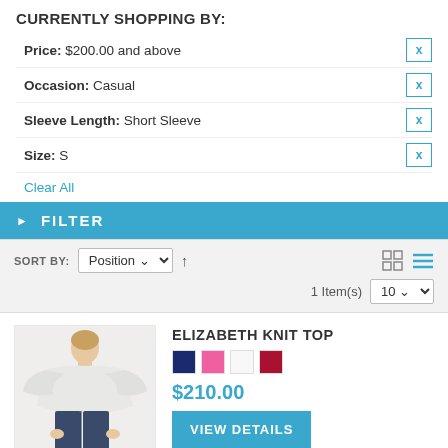CURRENTLY SHOPPING BY:
Price: $200.00 and above
Occasion: Casual
Sleeve Length: Short Sleeve
Size: S
Clear All
FILTER
SORT BY: Position (dropdown) ↑  [grid icon] [list icon]  1 Item(s)  10 (dropdown)
ELIZABETH KNIT TOP
$210.00
VIEW DETAILS
Add to Wishlist